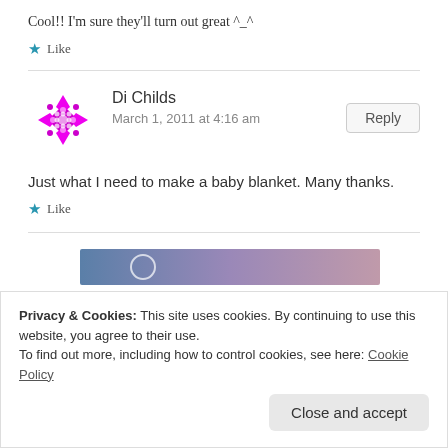Cool!! I'm sure they'll turn out great ^_^
★ Like
Di Childs
March 1, 2011 at 4:16 am
Just what I need to make a baby blanket. Many thanks.
★ Like
[Figure (illustration): Blue to pink gradient banner strip with a circular outline element]
Privacy & Cookies: This site uses cookies. By continuing to use this website, you agree to their use.
To find out more, including how to control cookies, see here: Cookie Policy
Close and accept